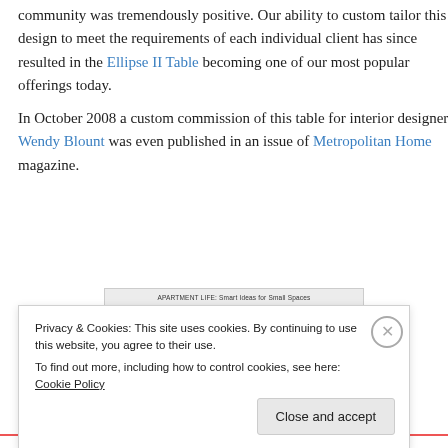community was tremendously positive. Our ability to custom tailor this design to meet the requirements of each individual client has since resulted in the Ellipse II Table becoming one of our most popular offerings today.
In October 2008 a custom commission of this table for interior designer Wendy Blount was even published in an issue of Metropolitan Home magazine.
[Figure (photo): Partial masthead of Metropolitan Home magazine showing 'APARTMENT LIFE: Smart Ideas for Small Spaces' text above the large purple/magenta 'Metropolitan' title logo.]
Privacy & Cookies: This site uses cookies. By continuing to use this website, you agree to their use.
To find out more, including how to control cookies, see here: Cookie Policy